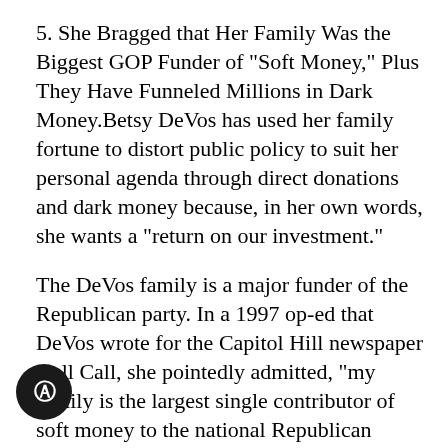5. She Bragged that Her Family Was the Biggest GOP Funder of "Soft Money," Plus They Have Funneled Millions in Dark Money.Betsy DeVos has used her family fortune to distort public policy to suit her personal agenda through direct donations and dark money because, in her own words, she wants a "return on our investment."
The DeVos family is a major funder of the Republican party. In a 1997 op-ed that DeVos wrote for the Capitol Hill newspaper Roll Call, she pointedly admitted, "my family is the largest single contributor of soft money to the national Republican party." She also said that she decided to stop taking offense at the suggestion that they were buying influence and simply concede the point, admitting "we expect a return on our investment," ake America reflect their vision for it.